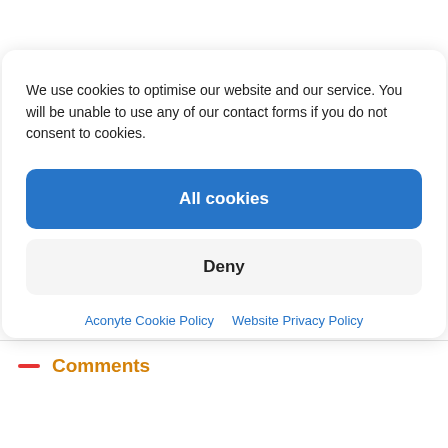[Figure (logo): Aconyte logo: black circle with orange wolf/mask icon and 'ACONYTE' text in white, next to large bold black 'ACONYTE' wordmark text]
We use cookies to optimise our website and our service. You will be unable to use any of our contact forms if you do not consent to cookies.
All cookies
Deny
Aconyte Cookie Policy   Website Privacy Policy
— Comments